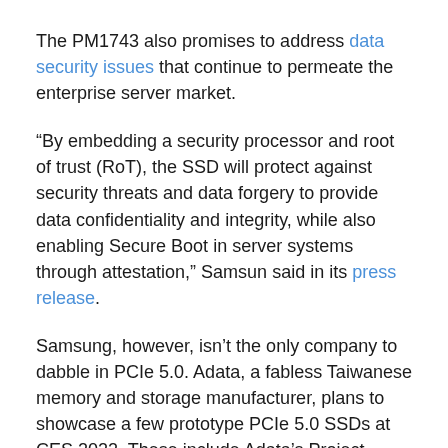The PM1743 also promises to address data security issues that continue to permeate the enterprise server market.
“By embedding a security processor and root of trust (RoT), the SSD will protect against security threats and data forgery to provide data confidentiality and integrity, while also enabling Secure Boot in server systems through attestation,” Samsun said in its press release.
Samsung, however, isn’t the only company to dabble in PCIe 5.0. Adata, a fabless Taiwanese memory and storage manufacturer, plans to showcase a few prototype PCIe 5.0 SSDs at CES 2022. These include Adata’s Project Nighthawk and Project Blackbird SSDs, which use a PCIe 5.0 x4 interface paired with the NVMe 2.0 protocol.
Kioxia, formerly Toshiba Memory, also announced a few